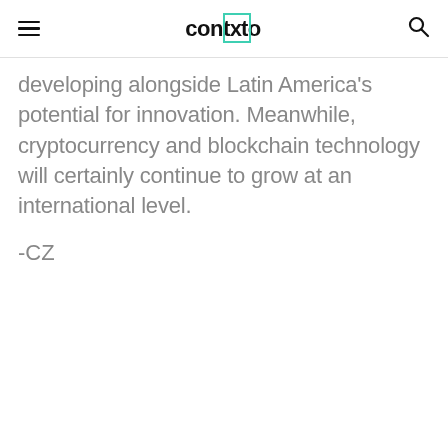contxto
developing alongside Latin America's potential for innovation. Meanwhile, cryptocurrency and blockchain technology will certainly continue to grow at an international level.
-CZ